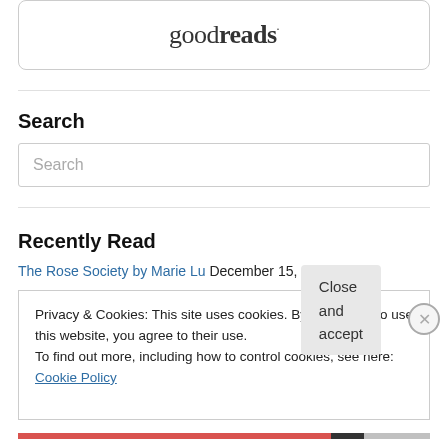[Figure (logo): Goodreads logo in a rounded rectangle box]
Search
Search (placeholder in input box)
Recently Read
The Rose Society by Marie Lu  December 15, 2016
Privacy & Cookies: This site uses cookies. By continuing to use this website, you agree to their use.
To find out more, including how to control cookies, see here: Cookie Policy
Close and accept